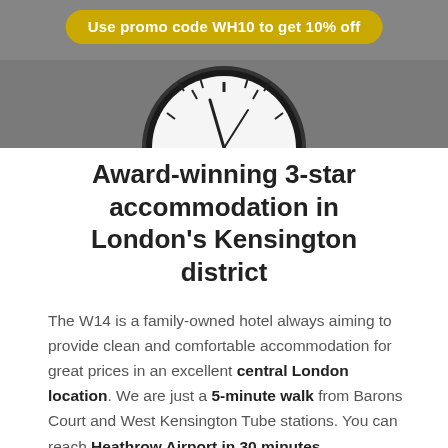[Figure (photo): Top portion of a hotel advertisement page showing a partial clock image with dark background, and a yellow rounded promo banner reading 'Use promo code WH10 to get 10% off']
Award-winning 3-star accommodation in London's Kensington district
The W14 is a family-owned hotel always aiming to provide clean and comfortable accommodation for great prices in an excellent central London location. We are just a 5-minute walk from Barons Court and West Kensington Tube stations. You can reach Heathrow Airport in 30 minutes